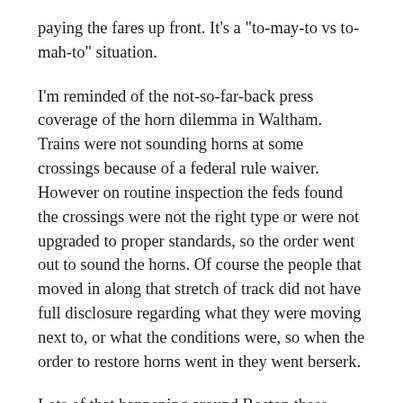paying the fares up front. It's a "to-may-to vs to-mah-to" situation.
I'm reminded of the not-so-far-back press coverage of the horn dilemma in Waltham. Trains were not sounding horns at some crossings because of a federal rule waiver. However on routine inspection the feds found the crossings were not the right type or were not upgraded to proper standards, so the order went out to sound the horns. Of course the people that moved in along that stretch of track did not have full disclosure regarding what they were moving next to, or what the conditions were, so when the order to restore horns went in they went berserk.
Lots of that happening around Boston these days. People moving in to areas with known city noise factors and then they complain. Either you didn't visit the area to check it out or your real estate agent sold you that half-million dollar lemon and blew town. And failure to sound the horns can get a train operator fired, fined, and even brought up on federal charges.